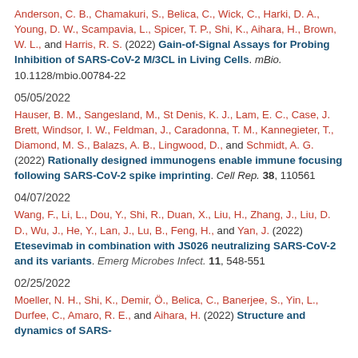Anderson, C. B., Chamakuri, S., Belica, C., Wick, C., Harki, D. A., Young, D. W., Scampavia, L., Spicer, T. P., Shi, K., Aihara, H., Brown, W. L., and Harris, R. S. (2022) Gain-of-Signal Assays for Probing Inhibition of SARS-CoV-2 M/3CL in Living Cells. mBio. 10.1128/mbio.00784-22
05/05/2022
Hauser, B. M., Sangesland, M., St Denis, K. J., Lam, E. C., Case, J. Brett, Windsor, I. W., Feldman, J., Caradonna, T. M., Kannegieter, T., Diamond, M. S., Balazs, A. B., Lingwood, D., and Schmidt, A. G. (2022) Rationally designed immunogens enable immune focusing following SARS-CoV-2 spike imprinting. Cell Rep. 38, 110561
04/07/2022
Wang, F., Li, L., Dou, Y., Shi, R., Duan, X., Liu, H., Zhang, J., Liu, D. D., Wu, J., He, Y., Lan, J., Lu, B., Feng, H., and Yan, J. (2022) Etesevimab in combination with JS026 neutralizing SARS-CoV-2 and its variants. Emerg Microbes Infect. 11, 548-551
02/25/2022
Moeller, N. H., Shi, K., Demir, Ö., Belica, C., Banerjee, S., Yin, L., Durfee, C., Amaro, R. E., and Aihara, H. (2022) Structure and dynamics of SARS-